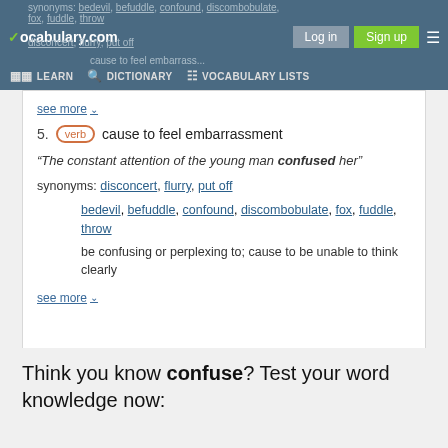vocabulary.com | Log in | Sign up | LEARN | DICTIONARY | VOCABULARY LISTS
synonyms: bedevil, befuddle, confound, discombobulate, fox, fuddle, throw
disconcert, flurry, put off
cause to feel embarrass...
see more
5. verb cause to feel embarrassment
“The constant attention of the young man confused her”
synonyms: disconcert, flurry, put off
bedevil, befuddle, confound, discombobulate, fox, fuddle, throw
be confusing or perplexing to; cause to be unable to think clearly
see more
Think you know confuse? Test your word knowledge now: